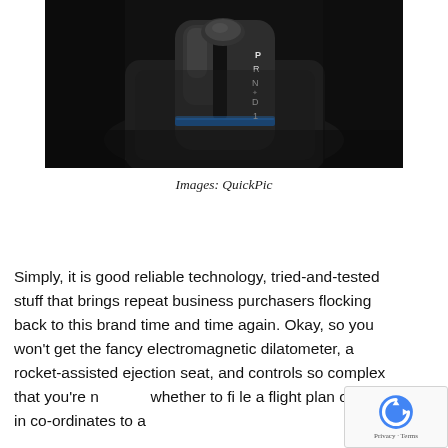[Figure (photo): Close-up photo of a car automatic gear shift selector showing positions P, R, N, D, 1, L with a dark glossy finish and blue accent lighting]
Images: QuickPic
Simply, it is good reliable technology, tried-and-tested stuff that brings repeat business purchasers flocking back to this brand time and time again. Okay, so you won't get the fancy electromagnetic dilatometer, a rocket-assisted ejection seat, and controls so complex that you're not sure whether to fi le a flight plan or punch in co-ordinates to a